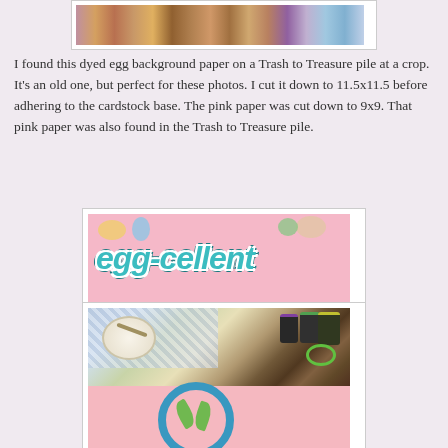[Figure (photo): Top partial photo showing colorful Easter eggs or candies on a background, partially cropped]
I found this dyed egg background paper on a Trash to Treasure pile at a crop. It’s an old one, but perfect for these photos. I cut it down to 11.5x11.5 before adhering to the cardstock base. The pink paper was cut down to 9x9. That pink paper was also found in the Trash to Treasure pile.
[Figure (photo): Photo of a scrapbook page on pink background with 'egg-cellent' title embellishment made of teal letters with Easter egg decorations, and colorful plastic Easter eggs at the bottom]
[Figure (photo): Partial photo showing an egg dyeing craft activity with a plate, spoon, cups of dye, and a pink cardstock base with blue flower embellishment partially visible]